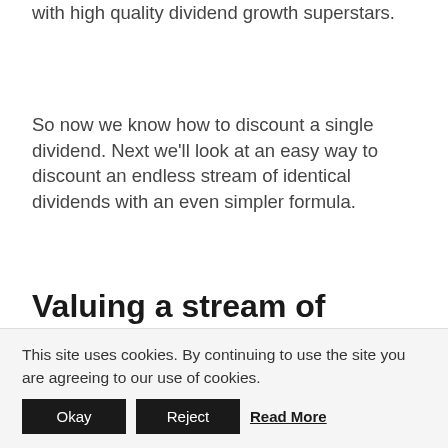with high quality dividend growth superstars.
So now we know how to discount a single dividend. Next we'll look at an easy way to discount an endless stream of identical dividends with an even simpler formula.
Valuing a stream of dividends with no growth
Let's start with something simple: A company that pays exactly the same dividend every year for the rest of its life.
This site uses cookies. By continuing to use the site you are agreeing to our use of cookies.  Okay  Reject  Read More